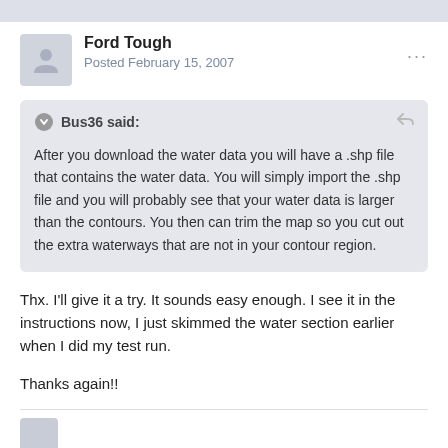Ford Tough
Posted February 15, 2007
Bus36 said:

After you download the water data you will have a .shp file that contains the water data. You will simply import the .shp file and you will probably see that your water data is larger than the contours. You then can trim the map so you cut out the extra waterways that are not in your contour region.
Thx. I'll give it a try. It sounds easy enough. I see it in the instructions now, I just skimmed the water section earlier when I did my test run.
Thanks again!!